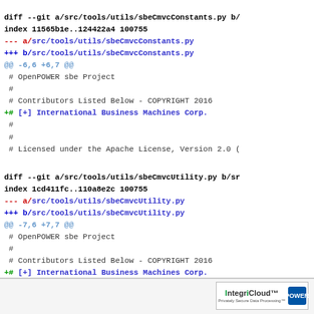diff --git a/src/tools/utils/sbeCmvcConstants.py b/...
index 11565b1e..124422a4 100755
--- a/src/tools/utils/sbeCmvcConstants.py
+++ b/src/tools/utils/sbeCmvcConstants.py
@@ -6,6 +6,7 @@
 # OpenPOWER sbe Project
 #
 # Contributors Listed Below - COPYRIGHT 2016
+# [+] International Business Machines Corp.
 #
 #
 # Licensed under the Apache License, Version 2.0 (
diff --git a/src/tools/utils/sbeCmvcUtility.py b/sr...
index 1cd411fc..110a8e2c 100755
--- a/src/tools/utils/sbeCmvcUtility.py
+++ b/src/tools/utils/sbeCmvcUtility.py
@@ -7,6 +7,7 @@
 # OpenPOWER sbe Project
 #
 # Contributors Listed Below - COPYRIGHT 2016
+# [+] International Business Machines Corp.
 #
 #
 # Licensed under the Apache License, Version 2.0 (
[Figure (logo): IntegriCloud and POWER logos in footer]